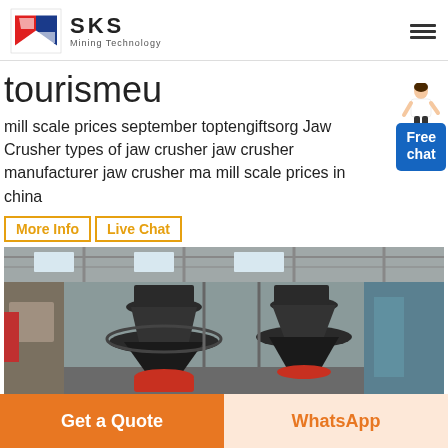[Figure (logo): SKS Mining Technology logo with red and blue S-shaped icon and brand text]
tourismeu
mill scale prices september toptengiftsorg Jaw Crusher types of jaw crusher jaw crusher manufacturer jaw crusher ma mill scale prices in china
[Figure (photo): Industrial factory floor showing large cone crusher machines in a warehouse setting]
Get a Quote
WhatsApp